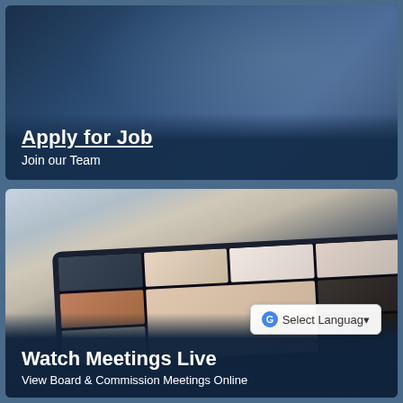[Figure (photo): Photo of hands holding documents with a dark blue overlay background, showing an 'Apply for Job – Join our Team' banner]
Apply for Job
Join our Team
[Figure (photo): Person viewing a video conference on a tablet showing multiple participants in a grid layout, with 'Watch Meetings Live' banner and a Google Translate 'Select Language' dropdown overlay]
Watch Meetings Live
View Board & Commission Meetings Online